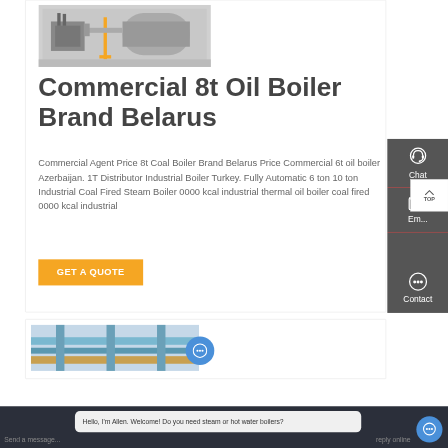[Figure (photo): Industrial boiler equipment photo showing machinery with yellow safety barriers in a facility]
Commercial 8t Oil Boiler Brand Belarus
Commercial Agent Price 8t Coal Boiler Brand Belarus Price Commercial 6t oil boiler Azerbaijan. 1T Distributor Industrial Boiler Turkey. Fully Automatic 6 ton 10 ton Industrial Coal Fired Steam Boiler 0000 kcal industrial thermal oil boiler coal fired 0000 kcal industrial
GET A QUOTE
[Figure (photo): Industrial boiler/pipe system photo showing yellow and blue pipes in facility]
Hello, I'm Allen. Welcome! Do you need steam or hot water boilers?
Send a message... reply online